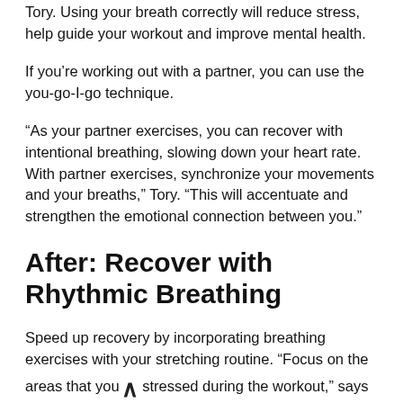Tory. Using your breath correctly will reduce stress, help guide your workout and improve mental health.
If you’re working out with a partner, you can use the you-go-I-go technique.
“As your partner exercises, you can recover with intentional breathing, slowing down your heart rate. With partner exercises, synchronize your movements and your breaths,” Tory. “This will accentuate and strengthen the emotional connection between you.”
After: Recover with Rhythmic Breathing
Speed up recovery by incorporating breathing exercises with your stretching routine. “Focus on the areas that you stressed during the workout,” says Tory, “Breathe into the stretched area as you that time...”